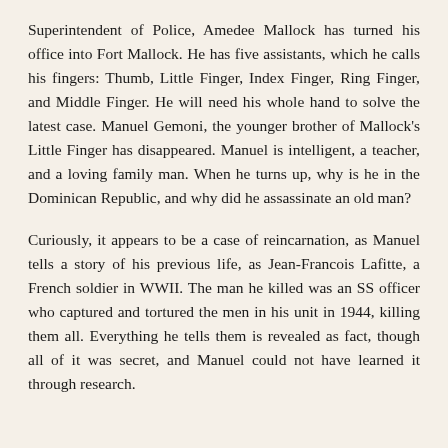Superintendent of Police, Amedee Mallock has turned his office into Fort Mallock. He has five assistants, which he calls his fingers: Thumb, Little Finger, Index Finger, Ring Finger, and Middle Finger. He will need his whole hand to solve the latest case. Manuel Gemoni, the younger brother of Mallock's Little Finger has disappeared. Manuel is intelligent, a teacher, and a loving family man. When he turns up, why is he in the Dominican Republic, and why did he assassinate an old man?
Curiously, it appears to be a case of reincarnation, as Manuel tells a story of his previous life, as Jean-Francois Lafitte, a French soldier in WWII. The man he killed was an SS officer who captured and tortured the men in his unit in 1944, killing them all. Everything he tells them is revealed as fact, though all of it was secret, and Manuel could not have learned it through research.